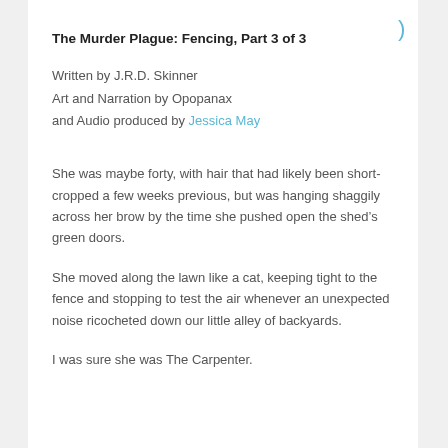The Murder Plague: Fencing, Part 3 of 3
Written by J.R.D. Skinner
Art and Narration by Opopanax
and Audio produced by Jessica May
She was maybe forty, with hair that had likely been short-cropped a few weeks previous, but was hanging shaggily across her brow by the time she pushed open the shed’s green doors.
She moved along the lawn like a cat, keeping tight to the fence and stopping to test the air whenever an unexpected noise ricocheted down our little alley of backyards.
I was sure she was The Carpenter.